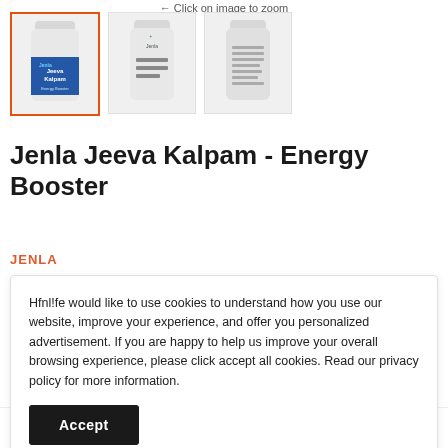← Click on image to zoom
[Figure (photo): Three product images of Jenla Jeeva Kalpam Energy Booster supplement bottle: first image selected with orange border showing front label with blue design, second showing side view, third showing back label]
Jenla Jeeva Kalpam - Energy Booster
JENLA
Hfnl!fe would like to use cookies to understand how you use our website, improve your experience, and offer you personalized advertisement. If you are happy to help us improve your overall browsing experience, please click accept all cookies. Read our privacy policy for more information.
Accept
Quantity: